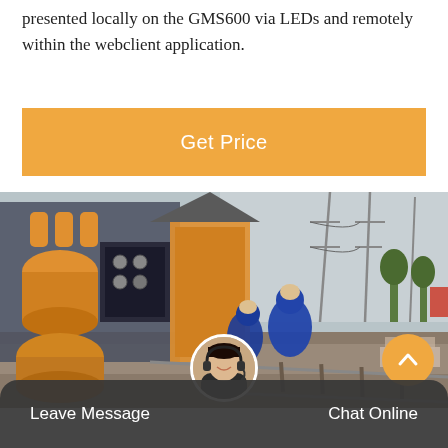presented locally on the GMS600 via LEDs and remotely within the webclient application.
Get Price
[Figure (photo): Industrial scene showing orange gas/electrical equipment and workers in blue protective suits working near high-voltage power line towers and a railway track.]
Leave Message
Chat Online